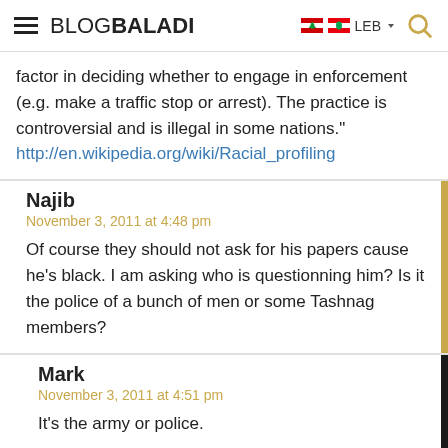BLOGBALADI LEB
factor in deciding whether to engage in enforcement (e.g. make a traffic stop or arrest). The practice is controversial and is illegal in some nations." http://en.wikipedia.org/wiki/Racial_profiling
Najib
November 3, 2011 at 4:48 pm
Of course they should not ask for his papers cause he's black. I am asking who is questionning him? Is it the police of a bunch of men or some Tashnag members?
Mark
November 3, 2011 at 4:51 pm
It's the army or police.
Mark